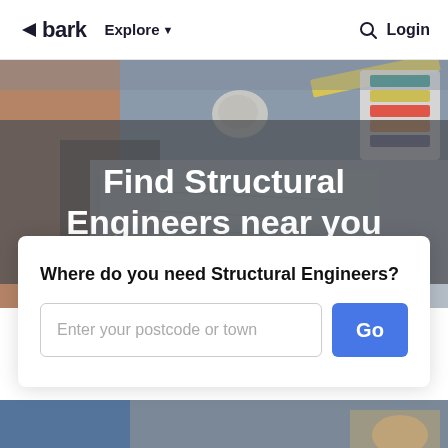bark  Explore  Login
[Figure (photo): Person drawing engineering/architectural plans on a desk with pencils, a crumpled paper ball, a ruler, and a color swatch fan visible. Hero banner image for Structural Engineers search page.]
Find Structural Engineers near you
Where do you need Structural Engineers?
Enter your postcode or town
Go